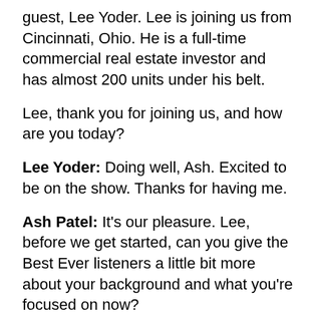guest, Lee Yoder. Lee is joining us from Cincinnati, Ohio. He is a full-time commercial real estate investor and has almost 200 units under his belt.
Lee, thank you for joining us, and how are you today?
Lee Yoder: Doing well, Ash. Excited to be on the show. Thanks for having me.
Ash Patel: It's our pleasure. Lee, before we get started, can you give the Best Ever listeners a little bit more about your background and what you're focused on now?
Lee Yoder: Sure. So I went to school for a really long time to become a physical therapist. Had a